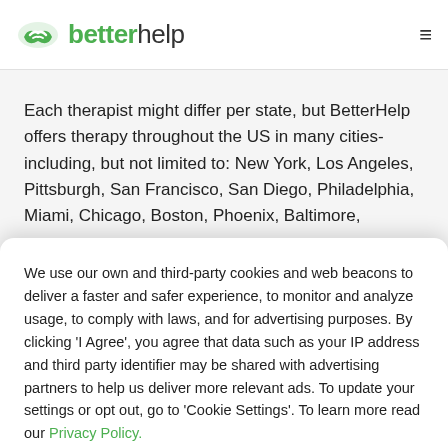betterhelp
Each therapist might differ per state, but BetterHelp offers therapy throughout the US in many cities- including, but not limited to: New York, Los Angeles, Pittsburgh, San Francisco, San Diego, Philadelphia, Miami, Chicago, Boston, Phoenix, Baltimore,
We use our own and third-party cookies and web beacons to deliver a faster and safer experience, to monitor and analyze usage, to comply with laws, and for advertising purposes. By clicking 'I Agree', you agree that data such as your IP address and third party identifier may be shared with advertising partners to help us deliver more relevant ads. To update your settings or opt out, go to 'Cookie Settings'. To learn more read our Privacy Policy.
Cookie Settings
I Agree